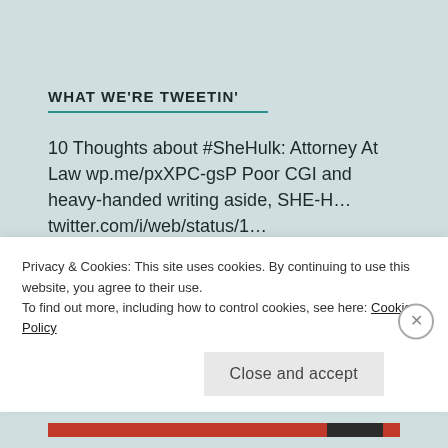WHAT WE'RE TWEETIN'
10 Thoughts about #SheHulk: Attorney At Law wp.me/pxXPC-gsP Poor CGI and heavy-handed writing aside, SHE-H… twitter.com/i/web/status/1… 1 day ago
Jurassic Park LOTR Toy Story
Privacy & Cookies: This site uses cookies. By continuing to use this website, you agree to their use.
To find out more, including how to control cookies, see here: Cookie Policy
Close and accept